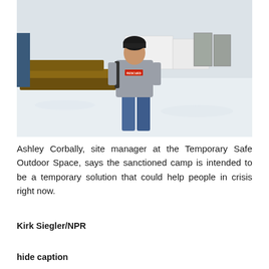[Figure (photo): A woman wearing a gray hoodie with 'RESCUED' text on the chest and a black beanie hat, standing outdoors in a snowy area. Behind her are wooden raised garden bed frames, portable toilets, and white tent structures. The ground is covered in snow.]
Ashley Corbally, site manager at the Temporary Safe Outdoor Space, says the sanctioned camp is intended to be a temporary solution that could help people in crisis right now.
Kirk Siegler/NPR
hide caption